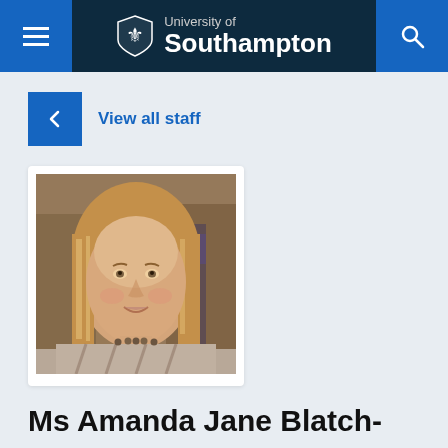University of Southampton
View all staff
[Figure (photo): Portrait photo of Ms Amanda Jane Blatch-Jones, a woman with long straight light brown hair, smiling slightly, wearing a checked shirt and a beaded necklace, with a blurred indoor background]
Ms Amanda Jane Blatch-Jones